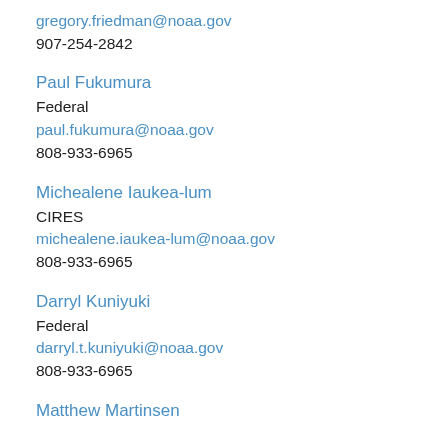gregory.friedman@noaa.gov
907-254-2842
Paul Fukumura
Federal
paul.fukumura@noaa.gov
808-933-6965
Michealene Iaukea-lum
CIRES
michealene.iaukea-lum@noaa.gov
808-933-6965
Darryl Kuniyuki
Federal
darryl.t.kuniyuki@noaa.gov
808-933-6965
Matthew Martinsen